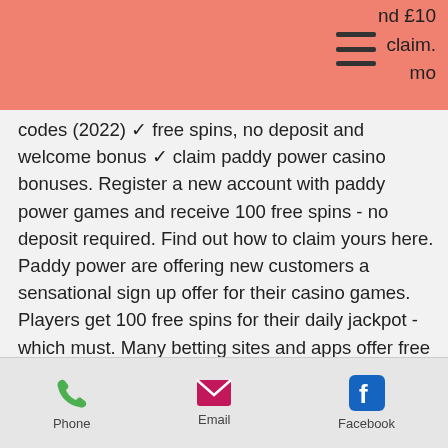nd £10 claim. mo
codes (2022) ✓ free spins, no deposit and welcome bonus ✓ claim paddy power casino bonuses. Register a new account with paddy power games and receive 100 free spins - no deposit required. Find out how to claim yours here. Paddy power are offering new customers a sensational sign up offer for their casino games. Players get 100 free spins for their daily jackpot - which must. Many betting sites and apps offer free incentives. These can include things like free spins or bonus money when you open a new account. The paddy power games welcome package is a good one. It's available for players in the uk and ireland only and is made up of free spins. 50 free spins +
Phone | Email | Facebook